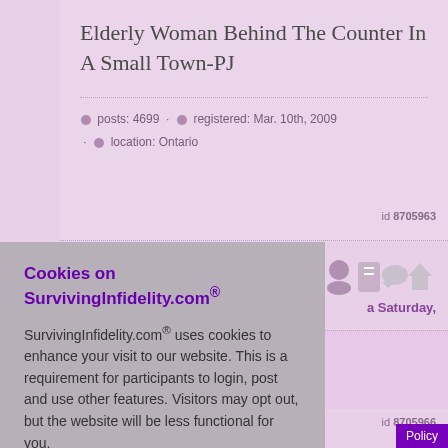Elderly Woman Behind The Counter In A Small Town-PJ
posts: 4699  ·  registered: Mar. 10th, 2009  ·  location: Ontario
id 8705963
a Saturday,
id 8705966
Cookies on SurvivingInfidelity.com®
SurvivingInfidelity.com® uses cookies to enhance your visit to our website. This is a requirement for participants to login, post and use other features. Visitors may opt out, but the website will be less functional for you.
accept
decline
Policy